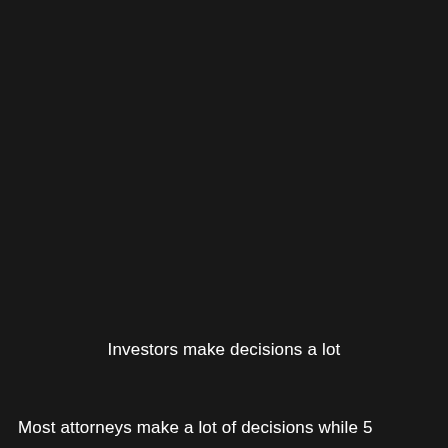Investors make decisions a lot
Most attorneys make a lot of decisions while 5